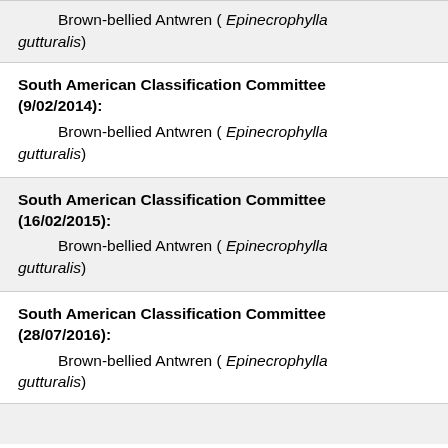(17/03/2013): Brown-bellied Antwren ( Epinecrophylla gutturalis)
South American Classification Committee (9/02/2014):
Brown-bellied Antwren ( Epinecrophylla gutturalis)
South American Classification Committee (16/02/2015):
Brown-bellied Antwren ( Epinecrophylla gutturalis)
South American Classification Committee (28/07/2016):
Brown-bellied Antwren ( Epinecrophylla gutturalis)